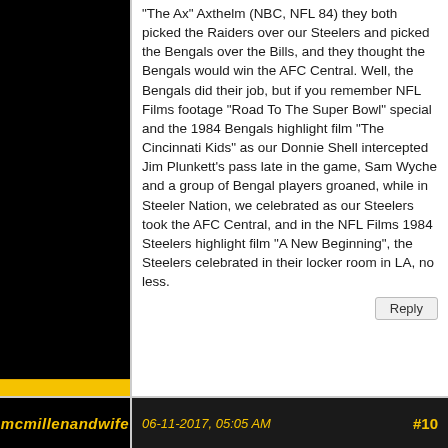[Figure (photo): Avatar column: black background with yellow/gold bar at bottom, representing a Steelers-themed user avatar area]
"The Ax" Axthelm (NBC, NFL 84) they both picked the Raiders over our Steelers and picked the Bengals over the Bills, and they thought the Bengals would win the AFC Central. Well, the Bengals did their job, but if you remember NFL Films footage "Road To The Super Bowl" special and the 1984 Bengals highlight film "The Cincinnati Kids" as our Donnie Shell intercepted Jim Plunkett's pass late in the game, Sam Wyche and a group of Bengal players groaned, while in Steeler Nation, we celebrated as our Steelers took the AFC Central, and in the NFL Films 1984 Steelers highlight film "A New Beginning", the Steelers celebrated in their locker room in LA, no less.
Reply
mcmillenandwife
06-11-2017, 05:05 AM
#10